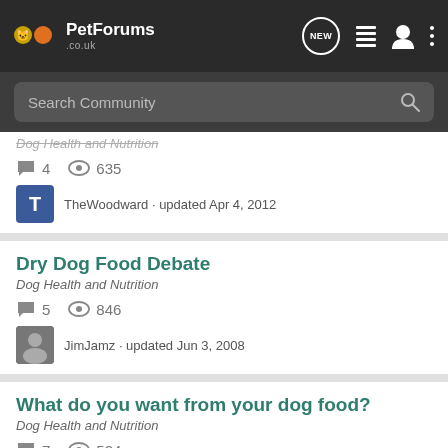PetForums.co.uk - NEW
Search Community
Dog Health and Nutrition
4 replies · 635 views
TheWoodward · updated Apr 4, 2012
Dry Dog Food Debate
Dog Health and Nutrition
5 replies · 846 views
JimJamz · updated Jun 3, 2008
What do you want from your dog food?
Dog Health and Nutrition
7 replies · 524 views